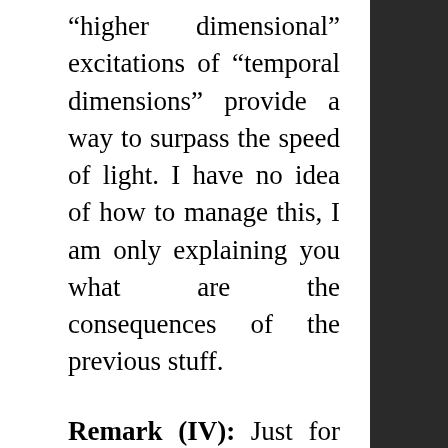“higher dimensional” excitations of “temporal dimensions” provide a way to surpass the speed of light. I have no idea of how to manage this, I am only explaining you what are the consequences of the previous stuff.
Remark (IV): Just for fun (or not). I am a big fan of Asimov’s books. Specially the Foundation series and the Robot stories. When I discovered these facts, long ago, I wondered myself if Isaac Asimov met Kalitzin/Arcidiacono (I think he could not meet Fantappie or